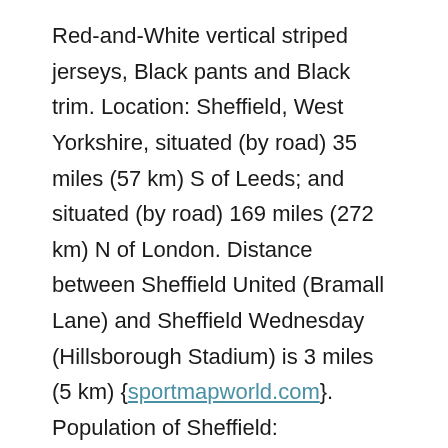Red-and-White vertical striped jerseys, Black pants and Black trim. Location: Sheffield, West Yorkshire, situated (by road) 35 miles (57 km) S of Leeds; and situated (by road) 169 miles (272 km) N of London. Distance between Sheffield United (Bramall Lane) and Sheffield Wednesday (Hillsborough Stadium) is 3 miles (5 km) {sportmapworld.com}. Population of Sheffield: